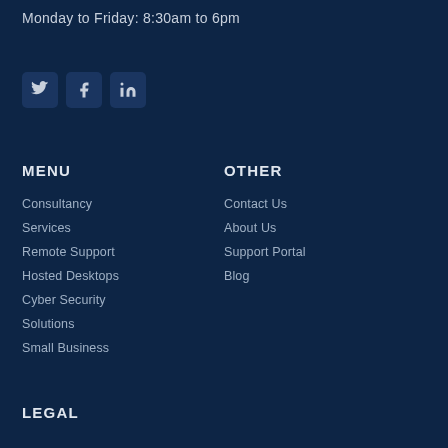Monday to Friday: 8:30am to 6pm
[Figure (illustration): Three social media icon buttons: Twitter (T), Facebook (f), LinkedIn (in)]
MENU
OTHER
Consultancy
Contact Us
Services
About Us
Remote Support
Support Portal
Hosted Desktops
Blog
Cyber Security
Solutions
Small Business
LEGAL